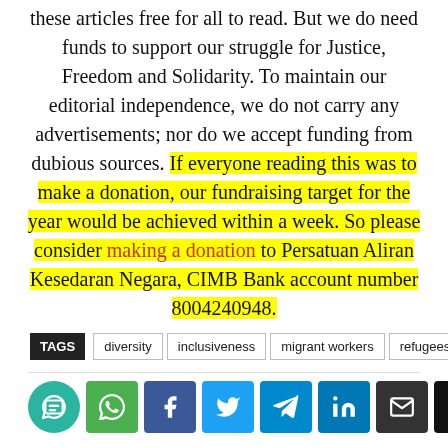these articles free for all to read. But we do need funds to support our struggle for Justice, Freedom and Solidarity. To maintain our editorial independence, we do not carry any advertisements; nor do we accept funding from dubious sources. If everyone reading this was to make a donation, our fundraising target for the year would be achieved within a week. So please consider making a donation to Persatuan Aliran Kesedaran Negara, CIMB Bank account number 8004240948.
TAGS: diversity, inclusiveness, migrant workers, refugees
[Figure (other): Social sharing buttons: chat, WhatsApp, Facebook, Twitter, Telegram, LinkedIn, Email, Print]